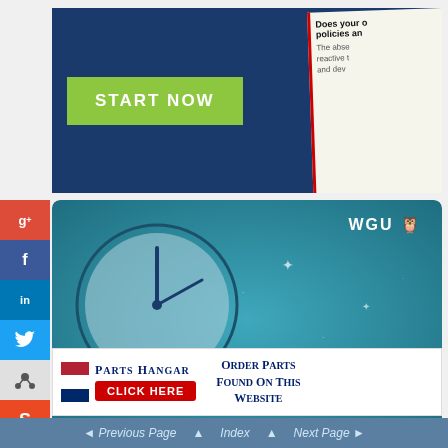[Figure (infographic): Top banner advertisement with dark blue background showing a green 'START NOW' button on the left, and a partial view of a document with red border on the right showing text 'Does your o... policies an...' and body text about absence.]
[Figure (infographic): WGU advertisement banner with teal/blue background, clock graphic on left, WGU owl logo top right, yellow text reading 'I GOT MY DEGREE ON MY SCHEDULE.' and star/sparkle decorations.]
[Figure (infographic): Parts Hangar advertisement with American flag logo, company name 'PARTS HANGAR', a red 'CLICK HERE' button, and text 'Order Parts Found On This Website'.]
[Figure (infographic): Social media sidebar icons: Google+, Facebook, LinkedIn, Twitter, Share, StumbleUpon.]
Previous Page  Index  Next Page